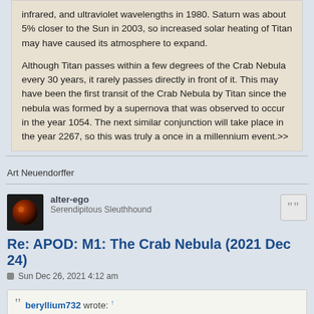infrared, and ultraviolet wavelengths in 1980. Saturn was about 5% closer to the Sun in 2003, so increased solar heating of Titan may have caused its atmosphere to expand.

Although Titan passes within a few degrees of the Crab Nebula every 30 years, it rarely passes directly in front of it. This may have been the first transit of the Crab Nebula by Titan since the nebula was formed by a supernova that was observed to occur in the year 1054. The next similar conjunction will take place in the year 2267, so this was truly a once in a millennium event.>>
Art Neuendorffer
alter-ego
Serendipitous Sleuthhound
Re: APOD: M1: The Crab Nebula (2021 Dec 24)
Sun Dec 26, 2021 4:12 am
beryllium732 wrote: ↑
I don't see the pulsar. There's several bright spots.
Crab pulsar, V* CM Tau, indicated